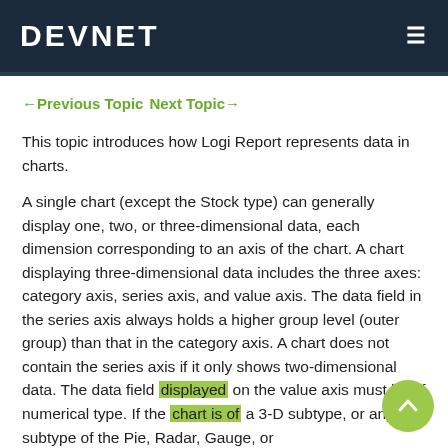DEVNET
← Previous Topic  Next Topic →
This topic introduces how Logi Report represents data in charts.
A single chart (except the Stock type) can generally display one, two, or three-dimensional data, each dimension corresponding to an axis of the chart. A chart displaying three-dimensional data includes the three axes: category axis, series axis, and value axis. The data field in the series axis always holds a higher group level (outer group) than that in the category axis. A chart does not contain the series axis if it only shows two-dimensional data. The data field displayed on the value axis must be of numerical type. If the chart is of a 3-D subtype, or any subtype of the Pie, Radar, Gauge, or Sunfaceity subtype, ...